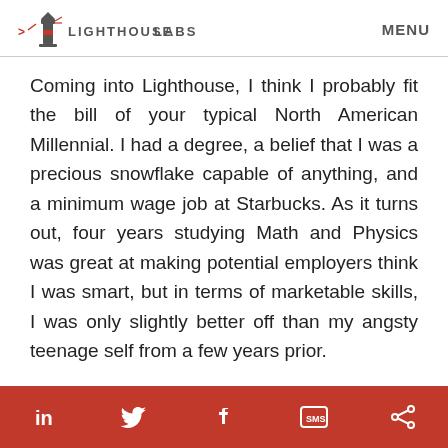LIGHTHOUSE LABS   MENU
Coming into Lighthouse, I think I probably fit the bill of your typical North American Millennial. I had a degree, a belief that I was a precious snowflake capable of anything, and a minimum wage job at Starbucks. As it turns out, four years studying Math and Physics was great at making potential employers think I was smart, but in terms of marketable skills, I was only slightly better off than my angsty teenage self from a few years prior.
That being said, my exposure to code was probably higher than most entering Lighthouse. In university, I had written a few lines of Python in my first year lab
in   [twitter]   f   SMS   [share]